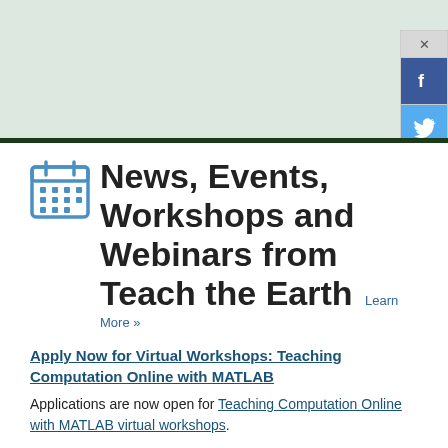[Figure (screenshot): Top banner area with light green/grey background]
[Figure (infographic): Social share sidebar with close button (x), Facebook icon, Twitter bird icon, and a share icon]
News, Events, Workshops and Webinars from Teach the Earth  Learn More »
Apply Now for Virtual Workshops: Teaching Computation Online with MATLAB
Applications are now open for Teaching Computation Online with MATLAB virtual workshops.